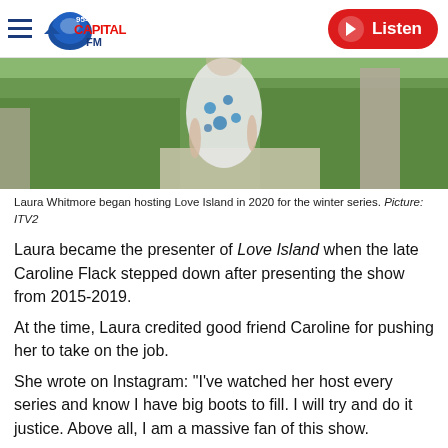Capital FM 95-106 | Listen
[Figure (photo): Photo showing a woman in a floral blue and white dress walking outdoors near hedges and stone pillars]
Laura Whitmore began hosting Love Island in 2020 for the winter series. Picture: ITV2
Laura became the presenter of Love Island when the late Caroline Flack stepped down after presenting the show from 2015-2019.
At the time, Laura credited good friend Caroline for pushing her to take on the job.
She wrote on Instagram: "I've watched her host every series and know I have big boots to fill. I will try and do it justice. Above all, I am a massive fan of this show.
"I've never been to a Love Island villa, and I can't wait to get